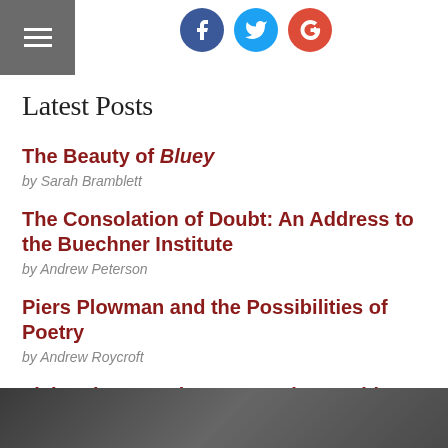Navigation menu and social share icons (Facebook, Twitter, Google+)
Latest Posts
The Beauty of Bluey
by Sarah Bramblett
The Consolation of Doubt: An Address to the Buechner Institute
by Andrew Peterson
Piers Plowman and the Possibilities of Poetry
by Andrew Roycroft
Living the Questions: ‘A Curious Faith’ review
by Jen Rose Yokel
More from Rabbit Room
[Figure (photo): Bottom strip showing partially visible images]